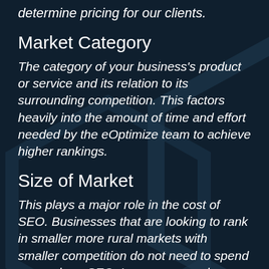determine pricing for our clients.
Market Category
The category of your business's product or service and its relation to its surrounding competition. This factors heavily into the amount of time and effort needed by the eOptimize team to achieve higher rankings.
Size of Market
This plays a major role in the cost of SEO. Businesses that are looking to rank in smaller more rural markets with smaller competition do not need to spend as much on SEO. Larger, more urban markets with stronger competition require a greater SEO spend in order to outperform the competition.